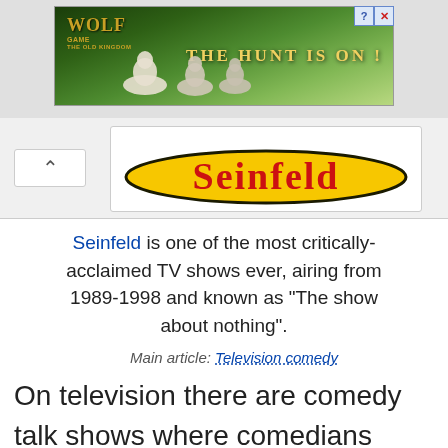[Figure (screenshot): Wolf Game advertisement banner showing wolves in a meadow with text 'THE HUNT IS ON!' and close/help buttons]
[Figure (logo): Seinfeld logo on yellow oval background with red text]
Seinfeld is one of the most critically-acclaimed TV shows ever, airing from 1989-1998 and known as "The show about nothing".
Main article: Television comedy
On television there are comedy talk shows where comedians make fun of current news and popular topics. Such comedians include Jay